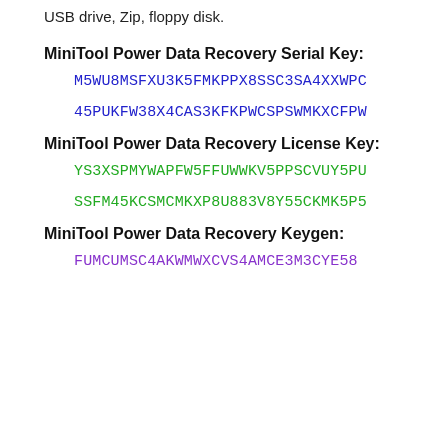USB drive, Zip, floppy disk.
MiniTool Power Data Recovery Serial Key:
M5WU8MSFXU3K5FMKPPX8SSC3SA4XXWPC
45PUKFW38X4CAS3KFKPWCSPSWMKXCFPW
MiniTool Power Data Recovery License Key:
YS3XSPMYWAPFW5FFUWWKV5PPSCVUY5PU
SSFM45KCSMCMKXP8U883V8Y55CKMK5P5
MiniTool Power Data Recovery Keygen:
FUMCUMSC4AKWMWXCVS4AMCE3M3CYE58